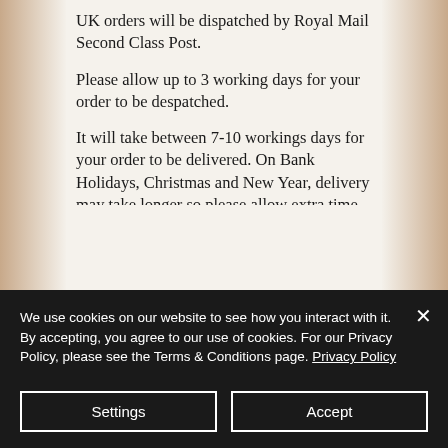UK orders will be dispatched by Royal Mail Second Class Post.
Please allow up to 3 working days for your order to be despatched.
It will take between 7-10 workings days for your order to be delivered. On Bank Holidays, Christmas and New Year, delivery may take longer so please allow extra time for your order to arrive. Delivery to other European
We use cookies on our website to see how you interact with it. By accepting, you agree to our use of cookies. For our Privacy Policy, please see the Terms & Conditions page. Privacy Policy
Settings
Accept